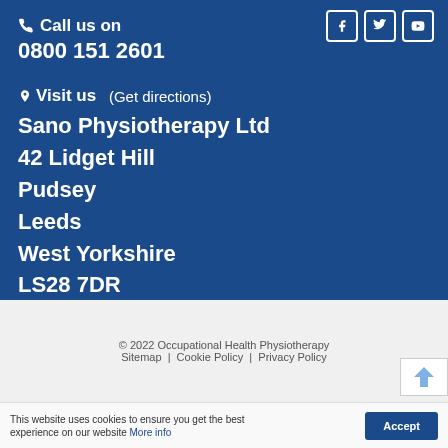Call us on
0800 151 2601
Visit us (Get directions)
Sano Physiotherapy Ltd
42 Lidget Hill
Pudsey
Leeds
West Yorkshire
LS28 7DR
© 2022 Occupational Health Physiotherapy
Sitemap | Cookie Policy | Privacy Policy
an ASCENSOR air website
This website uses cookies to ensure you get the best experience on our website More info
Accept